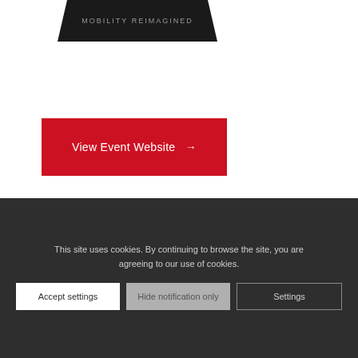[Figure (logo): Dark trapezoid banner with text MOBILITY REIMAGINED]
View Event Website →
Do you have questions about our
This site uses cookies. By continuing to browse the site, you are agreeing to our use of cookies.
Accept settings | Hide notification only | Settings